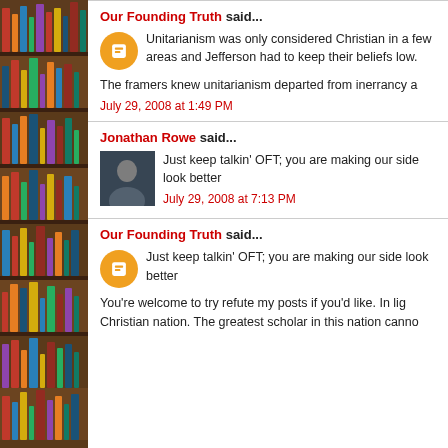Our Founding Truth said...
Unitarianism was only considered Christian in a few areas and Jefferson had to keep their beliefs low.
The framers knew unitarianism departed from inerrancy a
July 29, 2008 at 1:49 PM
Jonathan Rowe said...
Just keep talkin' OFT; you are making our side look better
July 29, 2008 at 7:13 PM
Our Founding Truth said...
Just keep talkin' OFT; you are making our side look better
You're welcome to try refute my posts if you'd like. In lig Christian nation. The greatest scholar in this nation canno